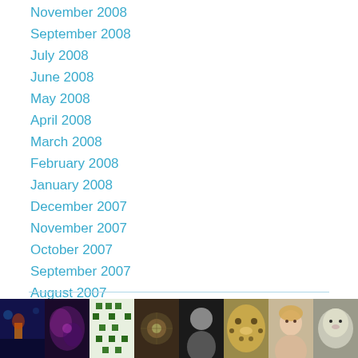November 2008
September 2008
July 2008
June 2008
May 2008
April 2008
March 2008
February 2008
January 2008
December 2007
November 2007
October 2007
September 2007
August 2007
July 2007
August 2006
[Figure (photo): Row of 8 thumbnail images including dark blue fantasy scene, purple nebula, green geometric pattern, spiral/flower close-up, black and white portrait, leopard close-up, blonde woman portrait, fluffy animal]